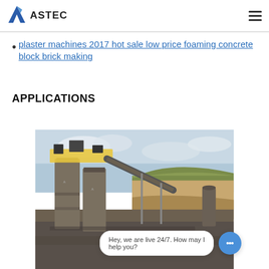ASTEC
plaster machines 2017 hot sale low price foaming concrete block brick making
APPLICATIONS
[Figure (photo): Industrial asphalt/concrete plant with large silos and conveyor belt, set against a hillside quarry background with cloudy sky.]
Hey, we are live 24/7. How may I help you?